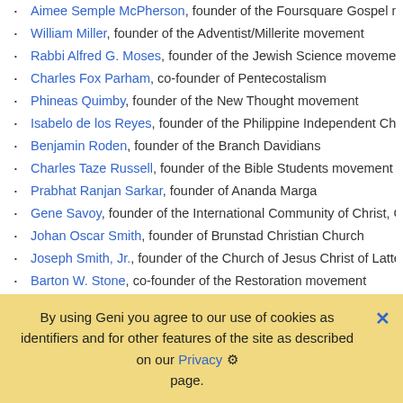Aimee Semple McPherson, founder of the Foursquare Gospel movement
William Miller, founder of the Adventist/Millerite movement
Rabbi Alfred G. Moses, founder of the Jewish Science movement
Charles Fox Parham, co-founder of Pentecostalism
Phineas Quimby, founder of the New Thought movement
Isabelo de los Reyes, founder of the Philippine Independent Church
Benjamin Roden, founder of the Branch Davidians
Charles Taze Russell, founder of the Bible Students movement and the J
Prabhat Ranjan Sarkar, founder of Ananda Marga
Gene Savoy, founder of the International Community of Christ, Church of
Johan Oscar Smith, founder of Brunstad Christian Church
Joseph Smith, Jr., founder of the Church of Jesus Christ of Latter-day Sa
Barton W. Stone, co-founder of the Restoration movement
Sun Myung Moon, founder of the Unification Church
Ellen G. White, co-founder of the Seventh-day Adventists
James White, co-founder of the Seventh-day Adventists
George Wigram, co-founder of the Plymouth Brethren movement
By using Geni you agree to our use of cookies as identifiers and for other features of the site as described on our Privacy page.